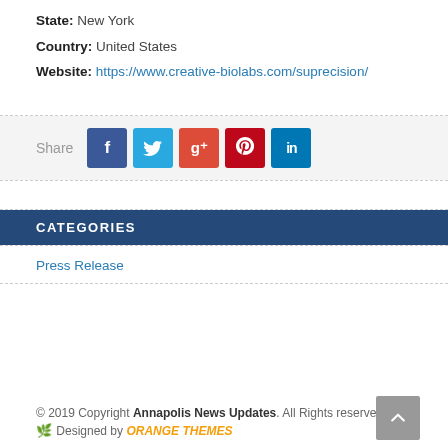State: New York
Country: United States
Website: https://www.creative-biolabs.com/suprecision/
[Figure (infographic): Social media share bar with Facebook, Twitter, Google+, Pinterest, LinkedIn buttons]
CATEGORIES
Press Release
© 2019 Copyright Annapolis News Updates. All Rights reserved. Designed by ORANGE THEMES